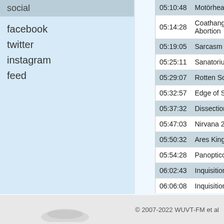social
facebook
twitter
instagram
feed
| Time | Artist | Track |
| --- | --- | --- |
| 05:10:48 | Motörhead |  |
| 05:14:28 | Coathanger Abortion |  |
| 05:19:05 | Sarcasm |  |
| 05:25:11 | Sanatorium |  |
| 05:29:07 | Rotten Sound |  |
| 05:32:57 | Edge of Sanity |  |
| 05:37:32 | Dissection |  |
| 05:47:03 | Nirvana 2002 |  |
| 05:50:32 | Ares Kingdom |  |
| 05:54:28 | Panopticon |  |
| 06:02:43 | Inquisition |  |
| 06:06:08 | Inquisition |  |
© 2007-2022 WUVT-FM et al